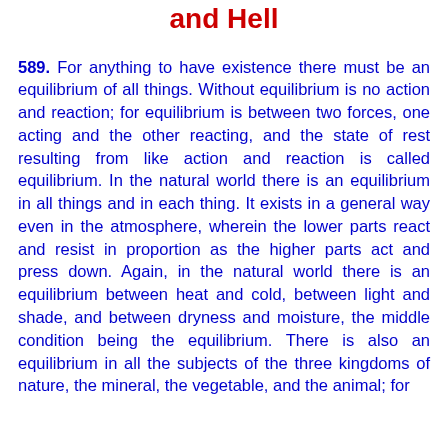and Hell
589. For anything to have existence there must be an equilibrium of all things. Without equilibrium is no action and reaction; for equilibrium is between two forces, one acting and the other reacting, and the state of rest resulting from like action and reaction is called equilibrium. In the natural world there is an equilibrium in all things and in each thing. It exists in a general way even in the atmosphere, wherein the lower parts react and resist in proportion as the higher parts act and press down. Again, in the natural world there is an equilibrium between heat and cold, between light and shade, and between dryness and moisture, the middle condition being the equilibrium. There is also an equilibrium in all the subjects of the three kingdoms of nature, the mineral, the vegetable, and the animal; for